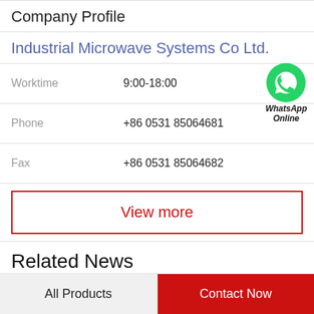Company Profile
Industrial Microwave Systems Co Ltd.
Worktime	9:00-18:00
Phone	+86 0531 85064681
[Figure (logo): WhatsApp green phone icon with text 'WhatsApp Online']
Fax	+86 0531 85064682
View more
Related News
All Products
Contact Now